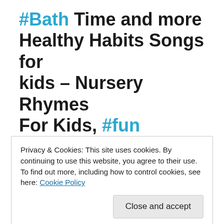#Bath Time and more Healthy Habits Songs for kids – Nursery Rhymes For Kids, #fun #instamama #design #babygirl 2022
for kids video for kids for children content for
Privacy & Cookies: This site uses cookies. By continuing to use this website, you agree to their use. To find out more, including how to control cookies, see here: Cookie Policy
Close and accept
time baby,cars,kids safety tips,funny video,family video,kids cartoon,wolfoo family kids cartoon,baby got sick,wolfoo family,wolfoo